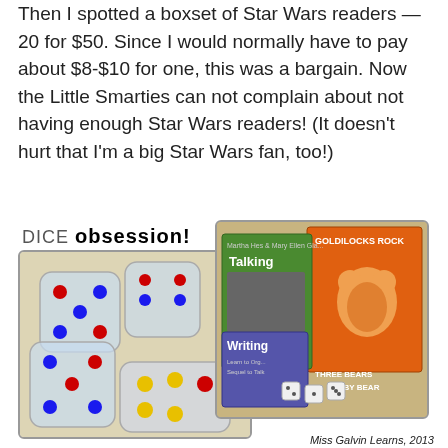Then I spotted a boxset of Star Wars readers — 20 for $50. Since I would normally have to pay about $8-$10 for one, this was a bargain. Now the Little Smarties can not complain about not having enough Star Wars readers! (It doesn't hurt that I'm a big Star Wars fan, too!)
[Figure (photo): Composite image showing two photos side by side. Left photo: colorful transparent dice with red and blue dots on a beige surface, labeled 'DICE obsession!' in bold text. Right photo: children's books including 'Talking', 'Goldilocks Rock', 'Writing', 'Three Bears', 'Baby Bear', with small white dice in front. Caption reads 'Miss Galvin Learns, 2013'.]